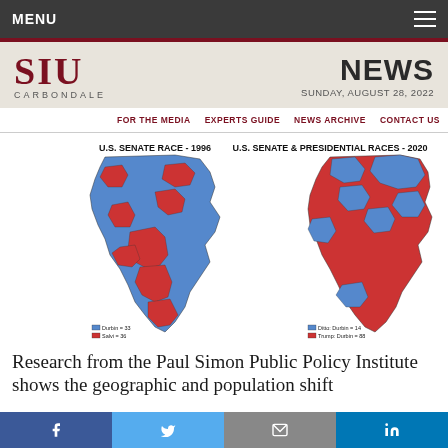MENU
[Figure (logo): SIU Carbondale logo with NEWS heading and date SUNDAY, AUGUST 28, 2022]
FOR THE MEDIA | EXPERTS GUIDE | NEWS ARCHIVE | CONTACT US
[Figure (map): Two Illinois county maps side by side. Left: U.S. Senate Race - 1996 showing blue and red counties. Right: U.S. Senate & Presidential Races - 2020 showing blue and red counties with more red in 2020.]
Research from the Paul Simon Public Policy Institute shows the geographic and population shift
Facebook Twitter Email LinkedIn social share bar